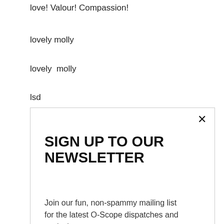love! Valour! Compassion!
lovely molly
lovely  molly
lsd
[Figure (screenshot): Newsletter sign-up modal popup with title 'SIGN UP TO OUR NEWSLETTER', body text 'Join our fun, non-spammy mailing list for the latest O-Scope dispatches and exclusive content.', an email input field with placeholder 'EMAIL@EXAMPLE.COM', a green-bordered SUBSCRIBE button, and a close X in top right.]
Mad Max Fury Road
mad world